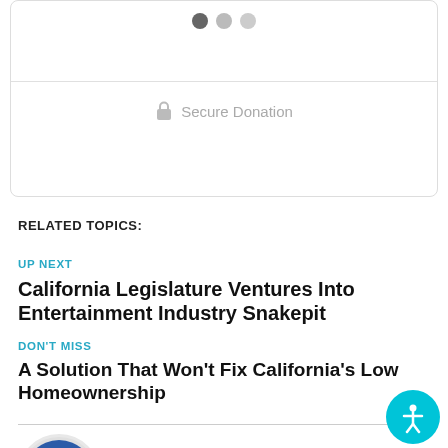[Figure (other): Donation widget with three dots (carousel indicators) and a 'Secure Donation' label with a lock icon]
RELATED TOPICS:
UP NEXT
California Legislature Ventures Into Entertainment Industry Snakepit
DON'T MISS
A Solution That Won't Fix California's Low Homeownership
[Figure (photo): Circular portrait photo of Dan Walters, a man in a suit against a blue background]
Dan Walters, CalMatters Commentary
Dan Walters has been a journalist for nearly 60 years, spending all but a few of those years working for California newspapers and he...